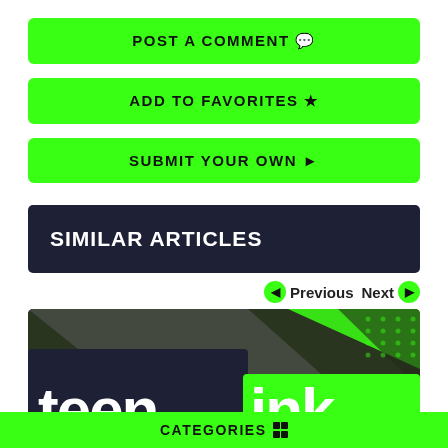POST A COMMENT 💬
ADD TO FAVORITES ★
SUBMIT YOUR OWN ▶
SIMILAR ARTICLES
Previous  Next
[Figure (logo): Teen Ink logo banner with dark navy and green background showing 'teen ink' in large white bold text]
CATEGORIES